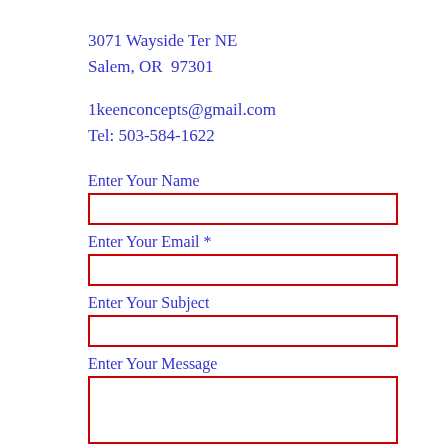3071 Wayside Ter NE
Salem, OR  97301
1keenconcepts@gmail.com
Tel: 503-584-1622
Enter Your Name
Enter Your Email *
Enter Your Subject
Enter Your Message